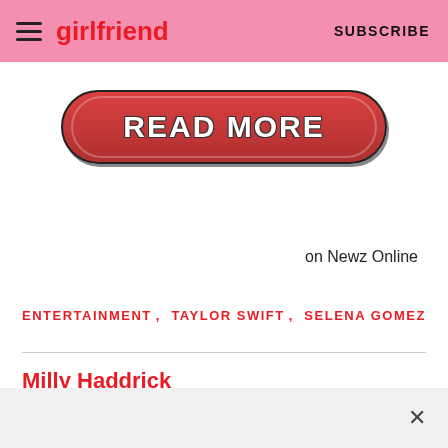girlfriend    SUBSCRIBE
[Figure (other): Red pill-shaped button with white bold text 'READ MORE' and dark border]
on Newz Online
ENTERTAINMENT ,    TAYLOR SWIFT ,    SELENA GOMEZ
Milly Haddrick